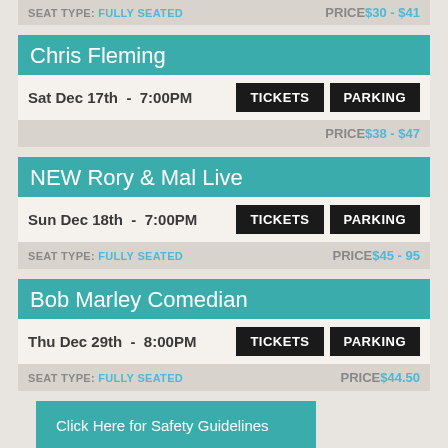SEAT TYPE: FULLY SEATED   PRICE: $30 - $41
Chris Fleming
Sat Dec 17th  -  7:00PM   TICKETS   PARKING
PRICE: $38 - $47
NEW Rory & Mal Live
Sun Dec 18th  -  7:00PM   TICKETS   PARKING
SEAT TYPE: FULLY SEATED   PRICE: $45 - 95
Bob Marley Comedian
Thu Dec 29th  -  8:00PM   TICKETS   PARKING
SEAT TYPE: FULLY SEATED   PRICE: $44.50
Click Here for Safety Guidelines